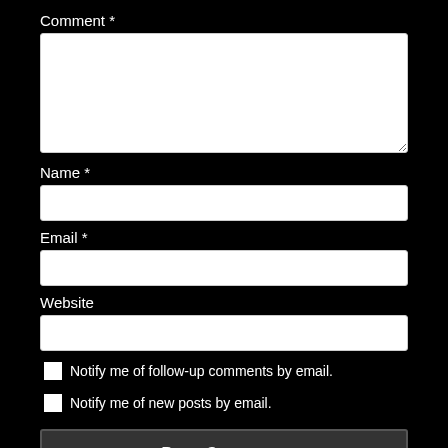Comment *
[Figure (screenshot): Comment textarea input field (large, white, empty)]
Name *
[Figure (screenshot): Name text input field (white, empty, single line)]
Email *
[Figure (screenshot): Email text input field (white, empty, single line)]
Website
[Figure (screenshot): Website text input field (white, empty, single line)]
Notify me of follow-up comments by email.
Notify me of new posts by email.
Post Comment